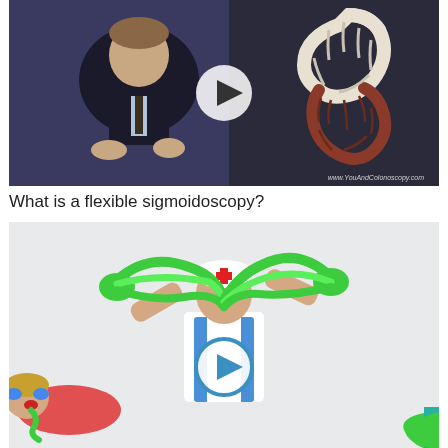[Figure (photo): Video thumbnail showing a man in a dark suit speaking, with an anatomical model of the colon/large intestine visible on the right side. A play button is overlaid in the center. Watermark reads www.YouAndColonoscopy.com]
What is a flexible sigmoidoscopy?
[Figure (photo): Video thumbnail showing a nurse in white uniform with green slime, and a child lying down in the foreground. A play button is overlaid. Green slime decorative elements and a red cross/plus sign are visible at the bottom.]